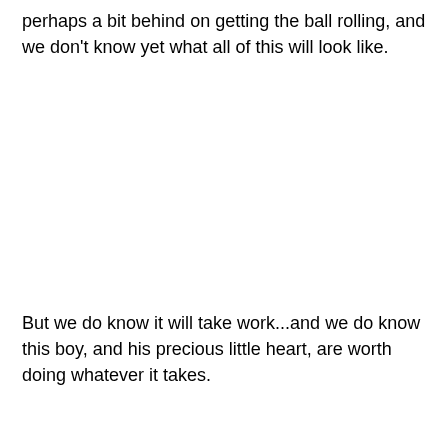perhaps a bit behind on getting the ball rolling, and we don't know yet what all of this will look like.
But we do know it will take work...and we do know this boy, and his precious little heart, are worth doing whatever it takes.